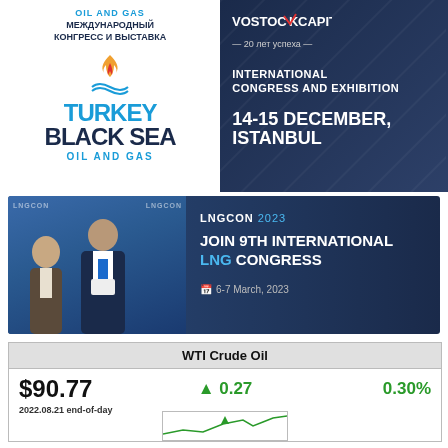[Figure (infographic): Turkey Black Sea Oil and Gas event banner — left side with logo and Russian text, right side dark blue with Vostock Capital logo, 'International Congress and Exhibition', date '14-15 December, Istanbul']
[Figure (infographic): LNGCON 2023 banner — left side with photo of two men at LNGCON event, right side dark blue with text 'LNGCON 2023 JOIN 9TH INTERNATIONAL LNG CONGRESS 6-7 March, 2023']
| WTI Crude Oil |  |  |
| --- | --- | --- |
| $90.77 | ▲ 0.27 | 0.30% |
| 2022.08.21 end-of-day |  |  |